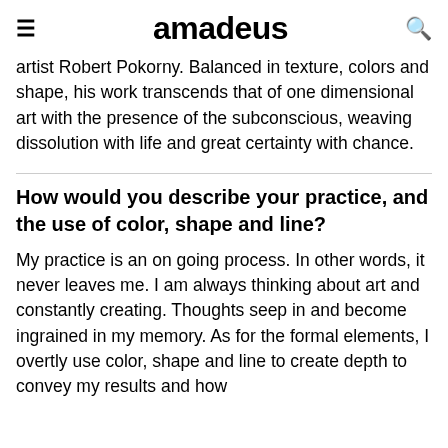amadeus
artist Robert Pokorny. Balanced in texture, colors and shape, his work transcends that of one dimensional art with the presence of the subconscious, weaving dissolution with life and great certainty with chance.
How would you describe your practice, and the use of color, shape and line?
My practice is an on going process. In other words, it never leaves me. I am always thinking about art and constantly creating. Thoughts seep in and become ingrained in my memory. As for the formal elements, I overtly use color, shape and line to create depth to convey my results and how